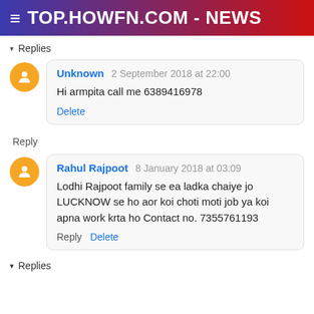≡ TOP.HOWFN.COM - NEWS
▾ Replies
Unknown  2 September 2018 at 22:00
Hi armpita call me 6389416978
Delete
Reply
Rahul Rajpoot  8 January 2018 at 03:09
Lodhi Rajpoot family se ea ladka chaiye jo LUCKNOW se ho aor koi choti moti job ya koi apna work krta ho Contact no. 7355761193
Reply  Delete
▾ Replies